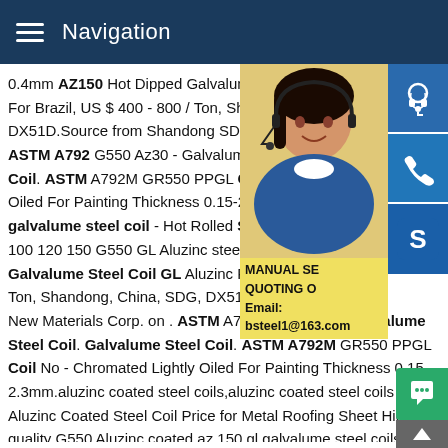Navigation
0.4mm AZ150 Hot Dipped Galvalume Ste For Brazil, US $ 400 - 800 / Ton, Shandon DX51D.Source from Shandong SDG New ASTM A792 G550 Az30 - Galvalume Stee Coil. ASTM A792M GR550 PPGL Coil No Oiled For Painting Thickness 0.15-2.3mm. galvalume steel coil - Hot Rolled Steel G 100 120 150 G550 GL Aluzinc steel0.4mm Galvalume Steel Coil GL Aluzinc Roll Fo Ton, Shandong, China, SDG, DX51D.Sou New Materials Corp. on . ASTM A792 G550 Az30 - Galvalume Steel Coil. Galvalume Steel Coil. ASTM A792M GR550 PPGL Coil No - Chromated Lightly Oiled For Painting Thickness 0.15-2.3mm.aluzinc coated steel coils,aluzinc coated steel coils PP Aluzinc Coated Steel Coil Price for Metal Roofing Sheet High quality G550 Aluzinc coated az 150 gl galvalume steel coils fo
[Figure (photo): Woman with headset smiling, customer service representative]
[Figure (infographic): Three blue icon buttons: headset/customer service, phone, Skype logo]
MANUAL SE QUOTING O Email: bsteel1@163.com